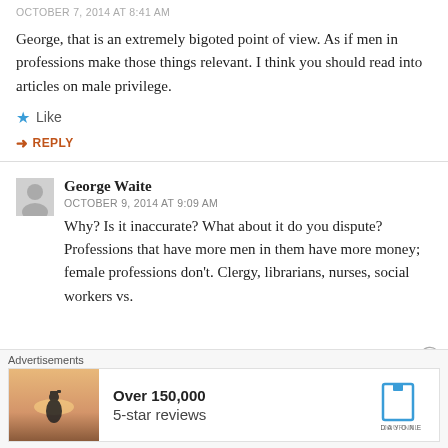OCTOBER 7, 2014 AT 8:41 AM
George, that is an extremely bigoted point of view. As if men in professions make those things relevant. I think you should read into articles on male privilege.
★ Like
↳ REPLY
George Waite
OCTOBER 9, 2014 AT 9:09 AM
Why? Is it inaccurate? What about it do you dispute? Professions that have more men in them have more money; female professions don't. Clergy, librarians, nurses, social workers vs.
Advertisements
[Figure (screenshot): Advertisement banner: person photographing sunset, text 'Over 150,000 5-star reviews', Day One Journal logo]